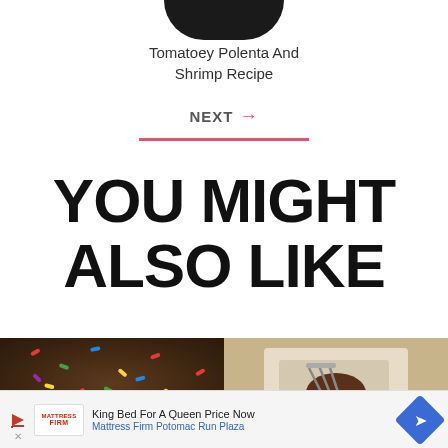[Figure (photo): Partial view of a dark bowl with food at the top of the page]
Tomatoey Polenta And Shrimp Recipe
NEXT →
YOU MIGHT ALSO LIKE
[Figure (photo): Close-up photo of chocolate bark or brownie with colorful candy sprinkles]
[Figure (photo): Photo of a baked good or dessert in a white paper/cloth wrapping with a fork]
King Bed For A Queen Price Now Mattress Firm Potomac Run Plaza